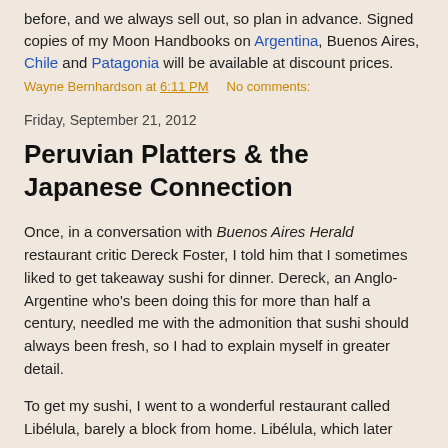before, and we always sell out, so plan in advance. Signed copies of my Moon Handbooks on Argentina, Buenos Aires, Chile and Patagonia will be available at discount prices.
Wayne Bernhardson at 6:11 PM    No comments:
Friday, September 21, 2012
Peruvian Platters & the Japanese Connection
Once, in a conversation with Buenos Aires Herald restaurant critic Dereck Foster, I told him that I sometimes liked to get takeaway sushi for dinner. Dereck, an Anglo-Argentine who's been doing this for more than half a century, needled me with the admonition that sushi should always been fresh, so I had to explain myself in greater detail.
To get my sushi, I went to a wonderful restaurant called Libélula, barely a block from home. Libélula, which later